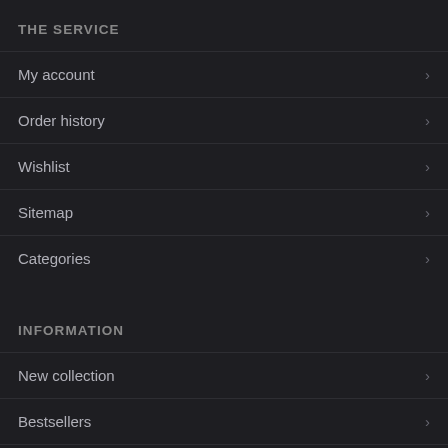THE SERVICE
My account
Order history
Wishlist
Sitemap
Categories
INFORMATION
New collection
Bestsellers
Manufacturers
Privacy policy
Terms of...